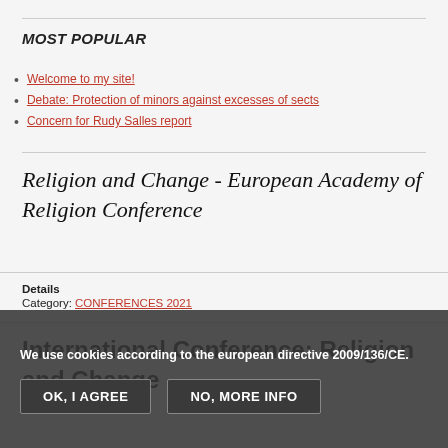MOST POPULAR
Welcome to my site!
Debate: Protection of minors against excesses of sects
Concern for Rudy Salles report
Religion and Change - European Academy of Religion Conference
Details
Category: CONFERENCES 2021
International Conference: Religion and Change
We use cookies according to the european directive 2009/136/CE.